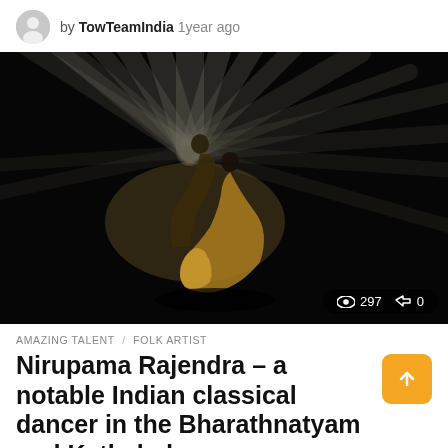by TowTeamIndia 1year ago
[Figure (photo): Two Indian classical dancers on a dark stage with dramatic radiating light beams behind them, one dancer in golden costume spinning]
297  0
AMAZING TALENT  FOLK ARTIST
Nirupama Rajendra – a notable Indian classical dancer in the Bharathnatyam and Kathak danc…